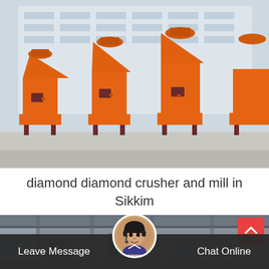[Figure (photo): Three large orange industrial diamond crushers and mills lined up outdoors in a factory yard, with a white building in the background. The machines are heavy-duty, cone-shaped on top with rectangular bases on metal frames.]
diamond diamond crusher and mill in Sikkim
[Figure (photo): Partial view of an industrial facility interior/exterior, gray tones, machinery in background.]